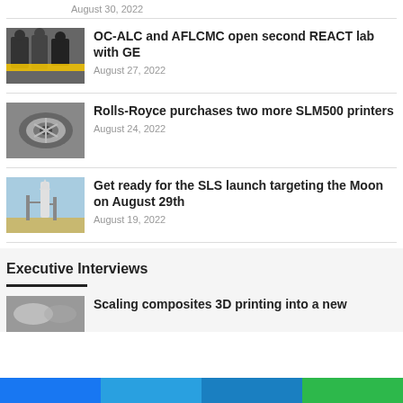August 30, 2022
OC-ALC and AFLCMC open second REACT lab with GE — August 27, 2022
Rolls-Royce purchases two more SLM500 printers — August 24, 2022
Get ready for the SLS launch targeting the Moon on August 29th — August 19, 2022
Executive Interviews
Scaling composites 3D printing into a new